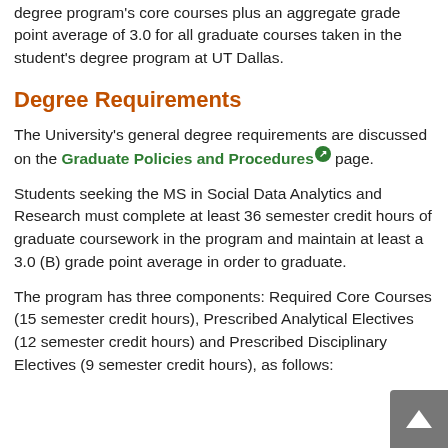degree program's core courses plus an aggregate grade point average of 3.0 for all graduate courses taken in the student's degree program at UT Dallas.
Degree Requirements
The University's general degree requirements are discussed on the Graduate Policies and Procedures page.
Students seeking the MS in Social Data Analytics and Research must complete at least 36 semester credit hours of graduate coursework in the program and maintain at least a 3.0 (B) grade point average in order to graduate.
The program has three components: Required Core Courses (15 semester credit hours), Prescribed Analytical Electives (12 semester credit hours) and Prescribed Disciplinary Electives (9 semester credit hours), as follows: